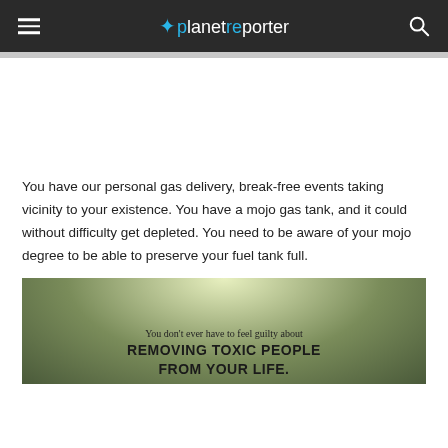planetreporter
You have our personal gas delivery, break-free events taking vicinity to your existence. You have a mojo gas tank, and it could without difficulty get depleted. You need to be aware of your mojo degree to be able to preserve your fuel tank full.
[Figure (illustration): Green textured background image with text: 'You don't ever have to feel guilty about REMOVING TOXIC PEOPLE FROM YOUR LIFE.']